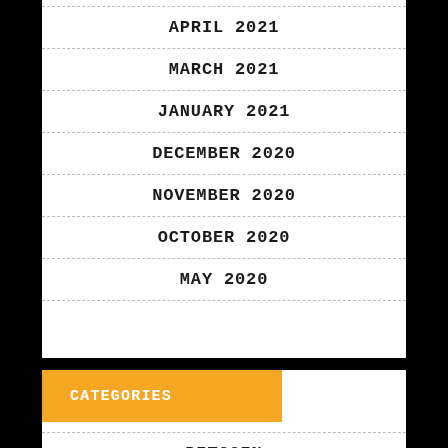APRIL 2021
MARCH 2021
JANUARY 2021
DECEMBER 2020
NOVEMBER 2020
OCTOBER 2020
MAY 2020
CATEGORIES
BITCOIN
BITCOIN BETTING